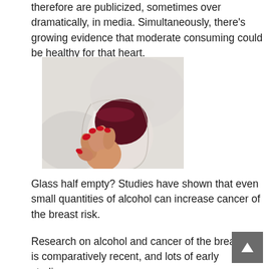therefore are publicized, sometimes over dramatically, in media. Simultaneously, there's growing evidence that moderate consuming could be healthy for that heart.
[Figure (photo): A hand with red-painted fingernails holding a stemless wine glass filled with red wine, against a light background.]
Glass half empty? Studies have shown that even small quantities of alcohol can increase cancer of the breast risk.
Research on alcohol and cancer of the breast is comparatively recent, and lots of early studies